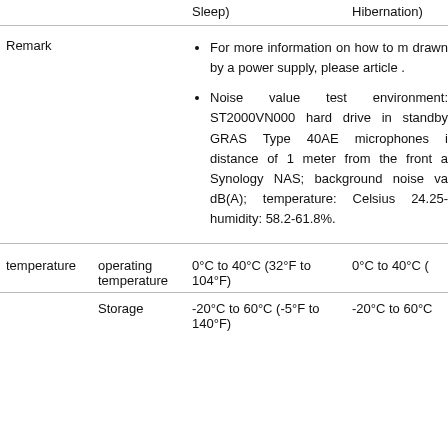|  | Sleep) |  | Hibernation) |
| Remark | • For more information on how to measure power drawn by a power supply, please article .
• Noise value test environment: ST2000VN000 hard drive in standby GRAS Type 40AE microphones distance of 1 meter from the front a Synology NAS; background noise va dB(A); temperature: Celsius 24.25- humidity: 58.2-61.8%. |  |  |
| temperature | operating temperature | 0°C to 40°C (32°F to 104°F) | 0°C to 40°C ( |
|  | Storage | -20°C to 60°C (-5°F to 140°F) | -20°C to 60°C |